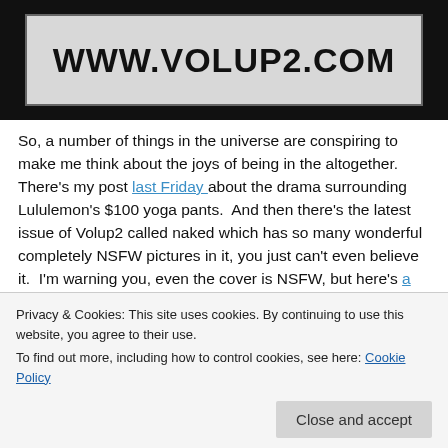[Figure (screenshot): Black background banner with www.volup2.com text in bold on a light grey background]
So, a number of things in the universe are conspiring to make me think about the joys of being in the altogether.  There's my post last Friday about the drama surrounding Lululemon's $100 yoga pants.  And then there's the latest issue of Volup2 called naked which has so many wonderful completely NSFW pictures in it, you just can't even believe it.  I'm warning you, even the cover is NSFW, but here's a link if you're interested. There's even an interview in there with me HERE, but lest I be accused of false advertising, I have to admit that the
Privacy & Cookies: This site uses cookies. By continuing to use this website, you agree to their use.
To find out more, including how to control cookies, see here: Cookie Policy